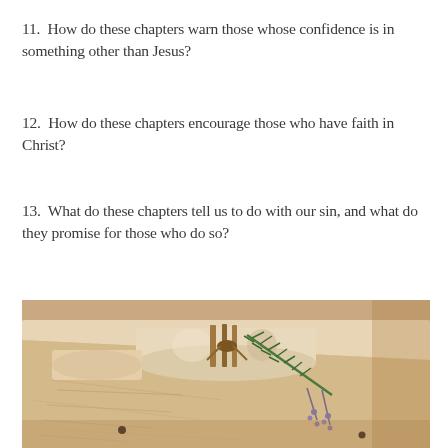11.  How do these chapters warn those whose confidence is in something other than Jesus?
12.  How do these chapters encourage those who have faith in Christ?
13.  What do these chapters tell us to do with our sin, and what do they promise for those who do so?
[Figure (photo): A warm-toned photograph of rolled parchment scrolls tied with twine, accompanied by sprigs of rosemary and dried lavender flowers, resting on aged paper and a wooden surface.]